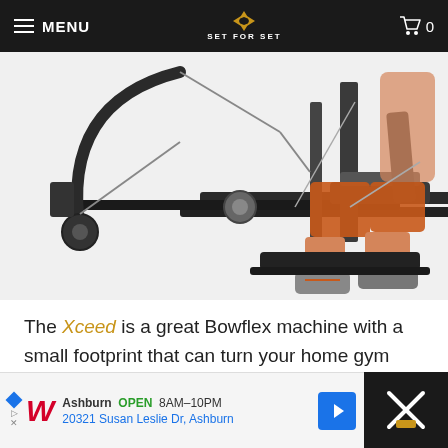MENU | SET FOR SET | 0
[Figure (photo): A shirtless man in red shorts sitting on a Bowflex Xceed home gym machine, using cable attachments. The machine has a large arc pulley system on the left with cables and weight stack visible.]
The Xceed is a great Bowflex machine with a small footprint that can turn your home gym into a super functional space.
You get over 65 exercises which makes
[Figure (screenshot): Advertisement banner for Walgreens showing: Ashburn OPEN 8AM-10PM, 20321 Susan Leslie Dr, Ashburn with a navigation arrow button]